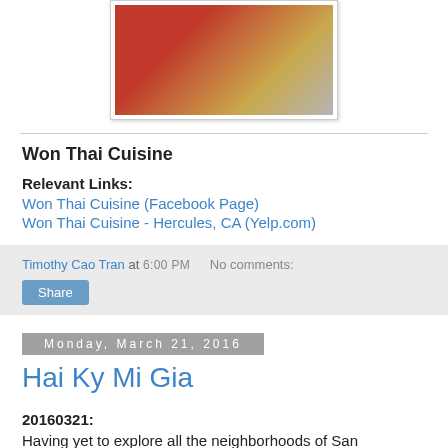[Figure (photo): Photo of a glass on a Thai restaurant table with a red placemat and decorative table runner]
Won Thai Cuisine
Relevant Links:
Won Thai Cuisine (Facebook Page)
Won Thai Cuisine - Hercules, CA (Yelp.com)
Timothy Cao Tran at 6:00 PM   No comments:
Share
Monday, March 21, 2016
Hai Ky Mi Gia
20160321:
Having yet to explore all the neighborhoods of San